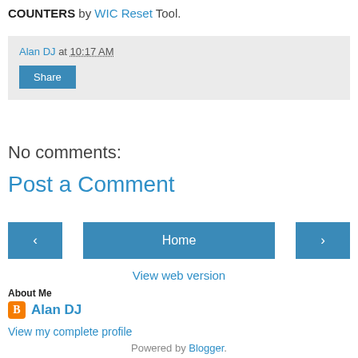COUNTERS by WIC Reset Tool.
Alan DJ at 10:17 AM
Share
No comments:
Post a Comment
< Home >
View web version
About Me
Alan DJ
View my complete profile
Powered by Blogger.